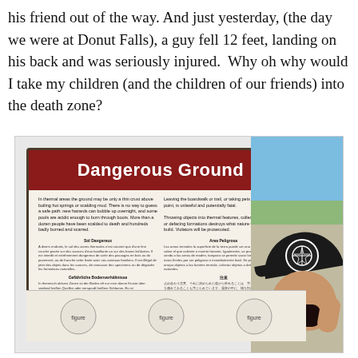his friend out of the way. And just yesterday, (the day we were at Donut Falls), a guy fell 12 feet, landing on his back and was seriously injured.  Why oh why would I take my children (and the children of our friends) into the death zone?
[Figure (photo): Photo of a 'Dangerous Ground' warning sign at what appears to be Yellowstone National Park, with a child in a dark cap with mouth open wide in an exaggerated shocked expression visible on the right side of the image. The sign has a red header reading 'Dangerous Ground' and contains text in English, Spanish, French, and German warning about thermal ground hazards.]